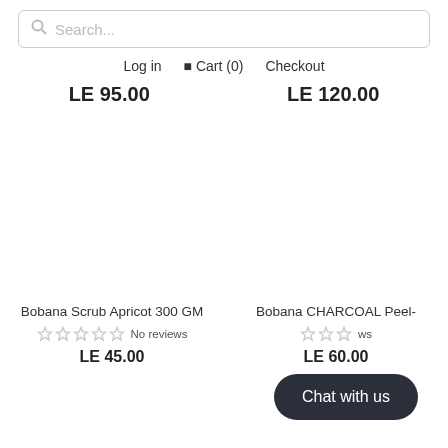Search...
Log in  Cart (0)  Checkout
LE 95.00   LE 120.00
Bobana Scrub Apricot 300 GM
No reviews
LE 45.00
Bobana CHARCOAL Peel-
No reviews
LE 60.00
Chat with us